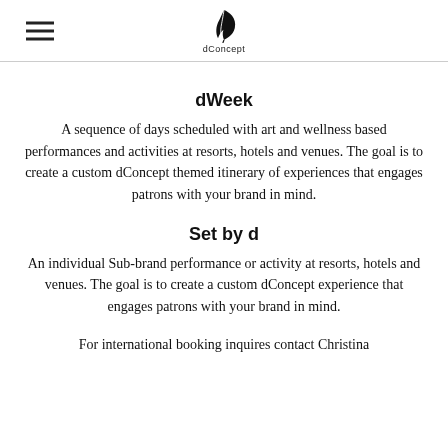dConcept
dWeek
A sequence of days scheduled with art and wellness based performances and activities at resorts, hotels and venues. The goal is to create a custom dConcept themed itinerary of experiences that engages patrons with your brand in mind.
Set by d
An individual Sub-brand performance or activity at resorts, hotels and venues. The goal is to create a custom dConcept experience that engages patrons with your brand in mind.
For international booking inquires contact Christina